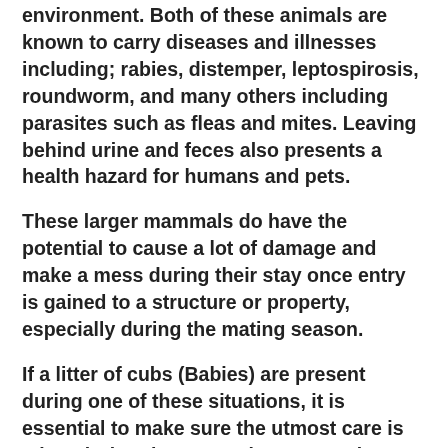environment. Both of these animals are known to carry diseases and illnesses including; rabies, distemper, leptospirosis, roundworm, and many others including parasites such as fleas and mites. Leaving behind urine and feces also presents a health hazard for humans and pets.
These larger mammals do have the potential to cause a lot of damage and make a mess during their stay once entry is gained to a structure or property, especially during the mating season.
If a litter of cubs (Babies) are present during one of these situations, it is essential to make sure the utmost care is taken during the removal process. The cubs are dependent on their mothers and many more problems may arise if improper course of action is taken. (These problems can be very costly.)